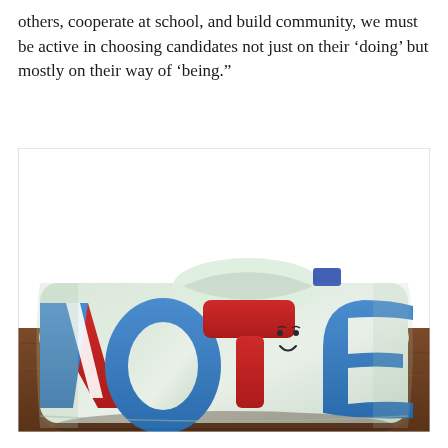others, cooperate at school, and build community, we must be active in choosing candidates not just on their ‘doing’ but mostly on their way of ‘being.”
[Figure (photo): A folded white sweatshirt with a colorful 'VOTE' graphic printed on it in red, white, and blue letters, with a simple smiley face figure incorporated into the design. The sweatshirt is resting on a wooden surface.]